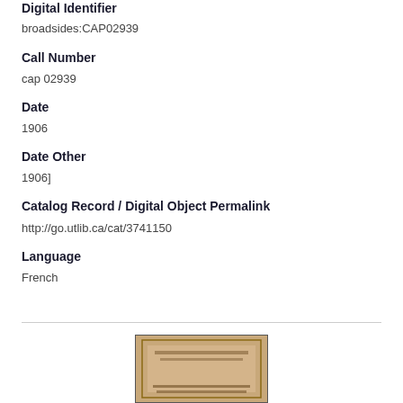Digital Identifier
broadsides:CAP02939
Call Number
cap 02939
Date
1906
Date Other
1906]
Catalog Record / Digital Object Permalink
http://go.utlib.ca/cat/3741150
Language
French
[Figure (photo): Thumbnail image of a historical broadside document with brownish/tan background and text visible at the bottom]